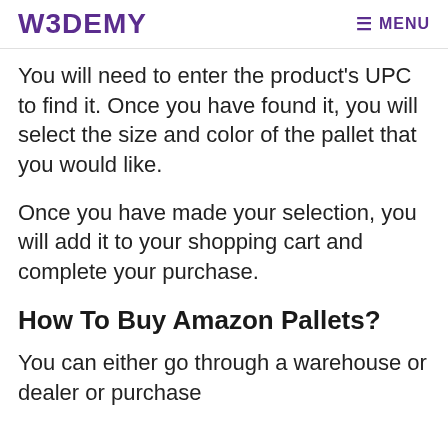W3DEMY  MENU
You will need to enter the product's UPC to find it. Once you have found it, you will select the size and color of the pallet that you would like.
Once you have made your selection, you will add it to your shopping cart and complete your purchase.
How To Buy Amazon Pallets?
You can either go through a warehouse or dealer or purchase